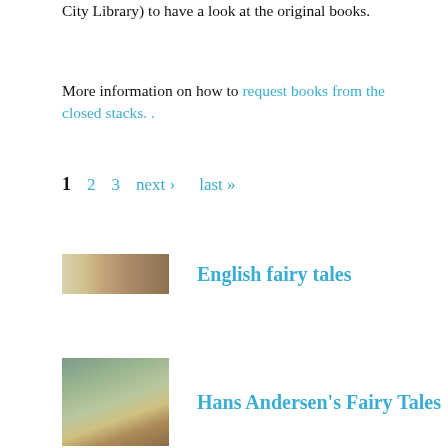City Library) to have a look at the original books.
More information on how to request books from the closed stacks. .
1  2  3  next ›  last »
English fairy tales
[Figure (photo): Thumbnail image of English fairy tales book cover, narrow horizontal strip]
Hans Andersen's Fairy Tales
[Figure (photo): Thumbnail image of Hans Andersen's Fairy Tales book cover showing a stork/bird illustration]